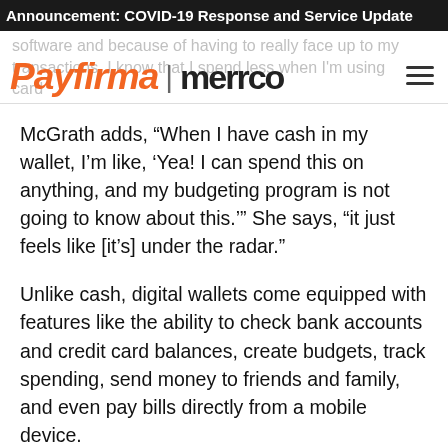Announcement: COVID-19 Response and Service Update
[Figure (logo): Payfirma | merrco logo with navigation hamburger menu. Faded background text visible behind logo.]
McGrath adds, “When I have cash in my wallet, I’m like, ‘Yea! I can spend this on anything, and my budgeting program is not going to know about this.’” She says, “it just feels like [it’s] under the radar.”
Unlike cash, digital wallets come equipped with features like the ability to check bank accounts and credit card balances, create budgets, track spending, send money to friends and family, and even pay bills directly from a mobile device.